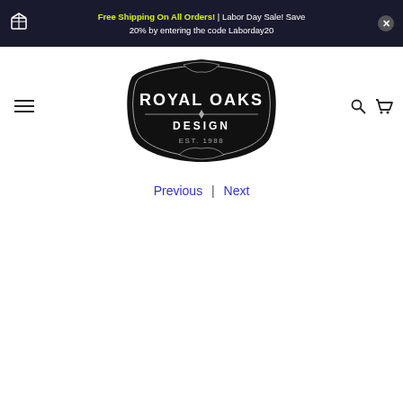Free Shipping On All Orders! | Labor Day Sale! Save 20% by entering the code Laborday20
[Figure (logo): Royal Oaks Design EST. 1988 logo badge, black shield/badge shape with white text]
Previous | Next